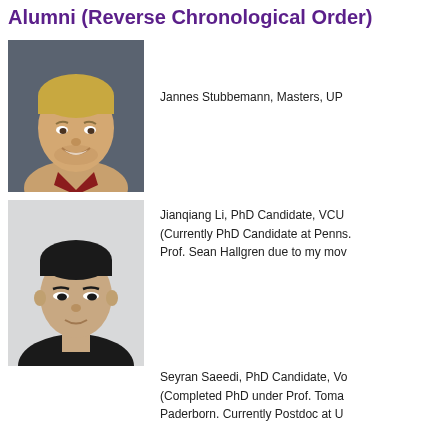Alumni (Reverse Chronological Order)
[Figure (photo): Headshot of Jannes Stubbemann, a young man with blonde hair, smiling, wearing a red flannel shirt, against a dark grey background.]
Jannes Stubbemann, Masters, UP
[Figure (photo): Headshot of Jianqiang Li, a young Asian man with short black hair, wearing a black shirt, against a light grey/white background.]
Jianqiang Li, PhD Candidate, VCU (Currently PhD Candidate at Penns. Prof. Sean Hallgren due to my mov
Seyran Saeedi, PhD Candidate, Vo (Completed PhD under Prof. Toma Paderborn. Currently Postdoc at U